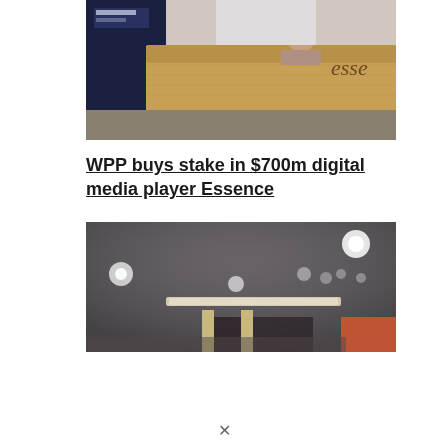[Figure (photo): Photo of the Essence office reception desk — a wooden curved reception counter with 'Essence' branding visible, a person partially visible behind the desk, dark navy wall with signage in background, grey floor in foreground.]
WPP buys stake in $700m digital media player Essence
[Figure (photo): Blurred interior photo of what appears to be an office or retail space, showing ceiling lights, columns, a fluorescent light strip, and an orange/red element in the lower right corner.]